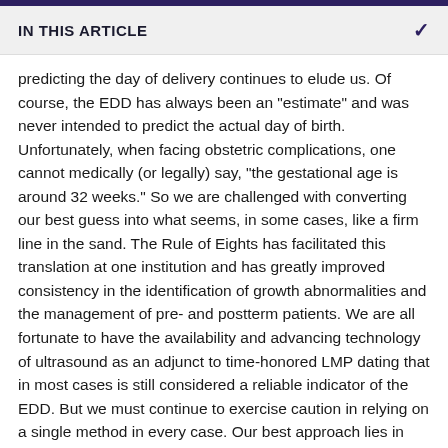IN THIS ARTICLE
predicting the day of delivery continues to elude us. Of course, the EDD has always been an "estimate" and was never intended to predict the actual day of birth. Unfortunately, when facing obstetric complications, one cannot medically (or legally) say, "the gestational age is around 32 weeks." So we are challenged with converting our best guess into what seems, in some cases, like a firm line in the sand. The Rule of Eights has facilitated this translation at one institution and has greatly improved consistency in the identification of growth abnormalities and the management of pre- and postterm patients. We are all fortunate to have the availability and advancing technology of ultrasound as an adjunct to time-honored LMP dating that in most cases is still considered a reliable indicator of the EDD. But we must continue to exercise caution in relying on a single method in every case. Our best approach lies in understanding the inherent inaccuracies of some of the methods we have relied